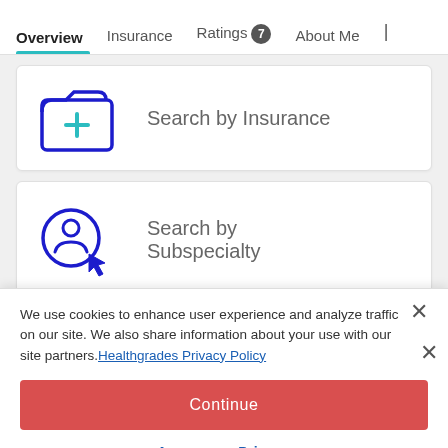Overview | Insurance | Ratings 7 | About Me
Search by Insurance
Search by Subspecialty
We use cookies to enhance user experience and analyze traffic on our site. We also share information about your use with our site partners. Healthgrades Privacy Policy
Continue
Access my Privacy Preferences
Offers Telehealth